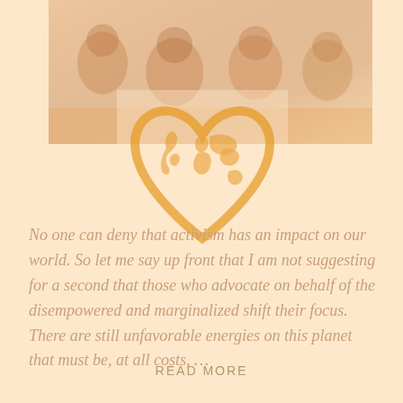[Figure (photo): Faded photo of people, appearing to be at a gathering or event, muted warm tones]
[Figure (illustration): Heart-shaped world map icon in golden/orange color, showing continents inside a heart outline, watermark-style overlay]
No one can deny that activism has an impact on our world. So let me say up front that I am not suggesting for a second that those who advocate on behalf of the disempowered and marginalized shift their focus. There are still unfavorable energies on this planet that must be, at all costs,
READ MORE